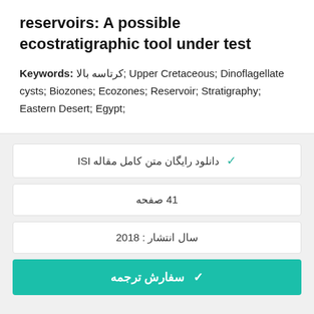reservoirs: A possible ecostratigraphic tool under test
Keywords: کرتاسه بالا; Upper Cretaceous; Dinoflagellate cysts; Biozones; Ecozones; Reservoir; Stratigraphy; Eastern Desert; Egypt;
✓ دانلود رایگان متن کامل مقاله ISI
41 صفحه
سال انتشار : 2018
✓ سفارش ترجمه